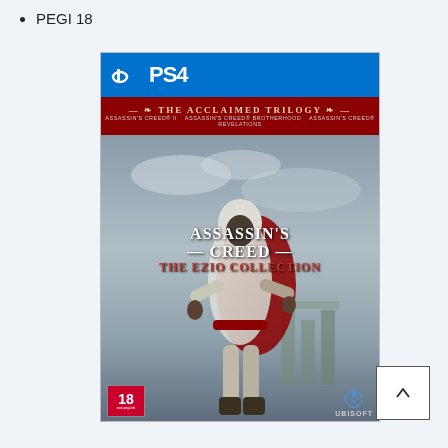PEGI 18
[Figure (photo): PS4 game cover for Assassin's Creed: The Ezio Collection. Blue PS4 header at top, dark red banner reading 'THE ACCLAIMED TRILOGY' with subtitles 'ASSASSIN'S CREED II · ASSASSIN'S CREED BROTHERHOOD · ASSASSIN'S CREED REVELATIONS'. Main cover art showing hooded assassin (Ezio) in white robes with a red cape against a cloudy sky with ancient Roman ruins. Title text reads 'ASSASSIN'S CREED THE EZIO COLLECTION'. PEGI 18 rating badge in bottom left, Ubisoft logo bottom right.]